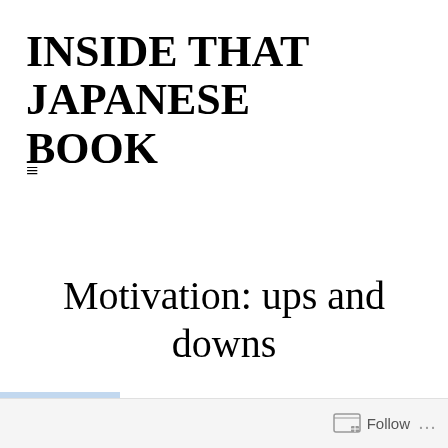INSIDE THAT JAPANESE BOOK
≡
Motivation: ups and downs
Follow ...